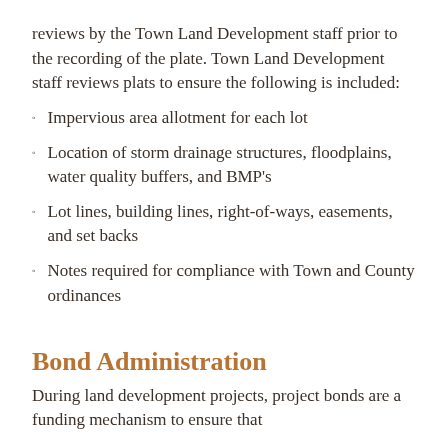reviews by the Town Land Development staff prior to the recording of the plate. Town Land Development staff reviews plats to ensure the following is included:
Impervious area allotment for each lot
Location of storm drainage structures, floodplains, water quality buffers, and BMP's
Lot lines, building lines, right-of-ways, easements, and set backs
Notes required for compliance with Town and County ordinances
Bond Administration
During land development projects, project bonds are a funding mechanism to ensure that